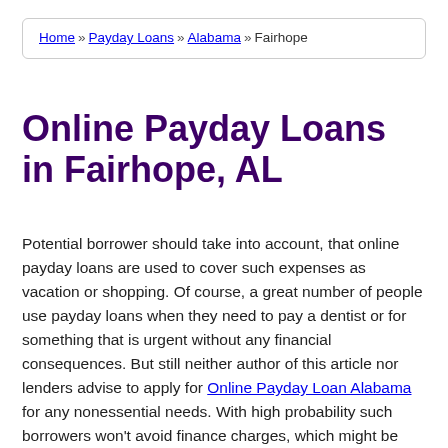Home » Payday Loans » Alabama » Fairhope
Online Payday Loans in Fairhope, AL
Potential borrower should take into account, that online payday loans are used to cover such expenses as vacation or shopping. Of course, a great number of people use payday loans when they need to pay a dentist or for something that is urgent without any financial consequences. But still neither author of this article nor lenders advise to apply for Online Payday Loan Alabama for any nonessential needs. With high probability such borrowers won't avoid finance charges, which might be extremely high.